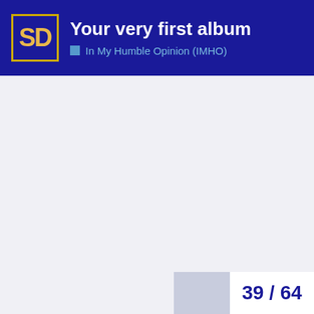SD — Your very first album — In My Humble Opinion (IMHO)
39 / 64